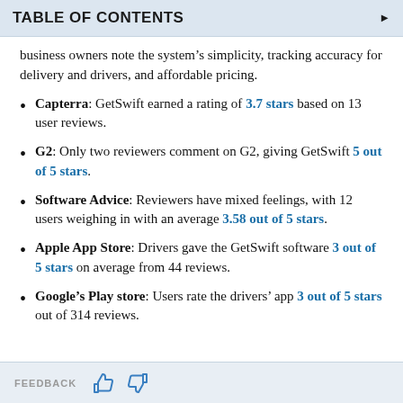TABLE OF CONTENTS
business owners note the system's simplicity, tracking accuracy for delivery and drivers, and affordable pricing.
Capterra: GetSwift earned a rating of 3.7 stars based on 13 user reviews.
G2: Only two reviewers comment on G2, giving GetSwift 5 out of 5 stars.
Software Advice: Reviewers have mixed feelings, with 12 users weighing in with an average 3.58 out of 5 stars.
Apple App Store: Drivers gave the GetSwift software 3 out of 5 stars on average from 44 reviews.
Google's Play store: Users rate the drivers' app 3 out of 5 stars out of 314 reviews.
FEEDBACK